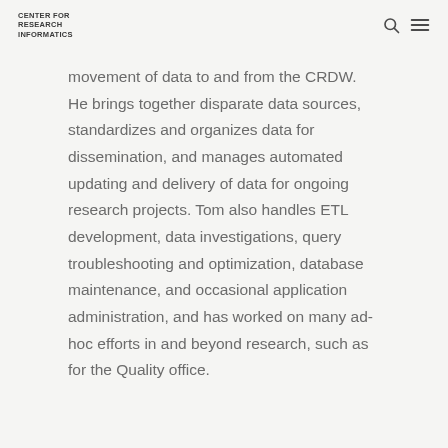CENTER FOR RESEARCH INFORMATICS
movement of data to and from the CRDW. He brings together disparate data sources, standardizes and organizes data for dissemination, and manages automated updating and delivery of data for ongoing research projects. Tom also handles ETL development, data investigations, query troubleshooting and optimization, database maintenance, and occasional application administration, and has worked on many ad-hoc efforts in and beyond research, such as for the Quality office.